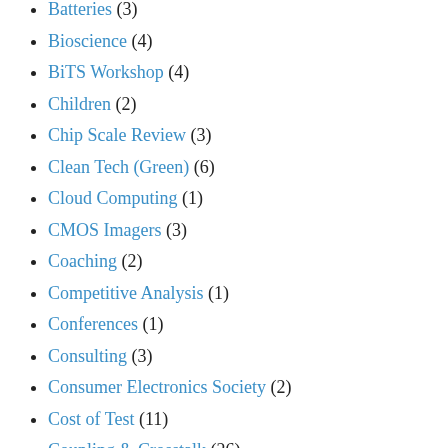Batteries (3)
Bioscience (4)
BiTS Workshop (4)
Children (2)
Chip Scale Review (3)
Clean Tech (Green) (6)
Cloud Computing (1)
CMOS Imagers (3)
Coaching (2)
Competitive Analysis (1)
Conferences (1)
Consulting (3)
Consumer Electronics Society (2)
Cost of Test (11)
Coupling & Crosstalk (26)
Data Waves (3)
Design Cycles (2)